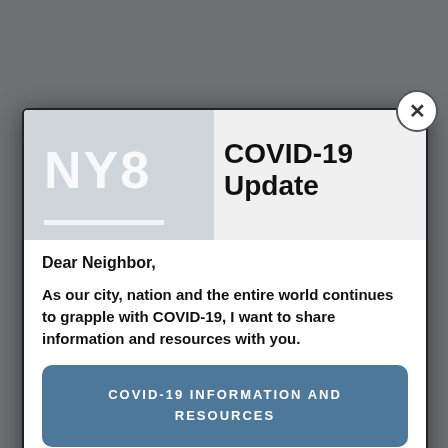[Figure (screenshot): Background webpage showing a newsletter sign-up form with NY8 branding, partially visible behind a modal dialog. Text includes 'NEWSLETTER SIGN UP', subscription description mentioning Congress and the district, an email input field, SUBMIT button, and Select Language option.]
COVID-19 Update
Dear Neighbor,
As our city, nation and the entire world continues to grapple with COVID-19, I want to share information and resources with you.
COVID-19 INFORMATION AND RESOURCES
To stay up to date with my work in Washington and at home in New York, please follow me